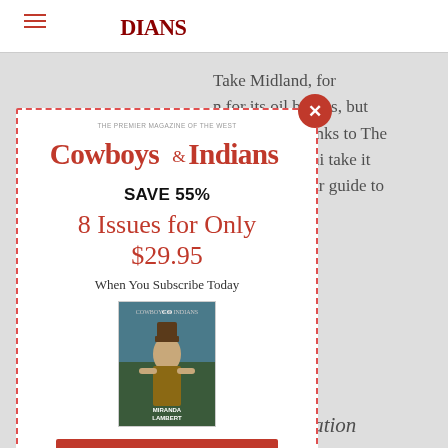[Figure (screenshot): Cowboys & Indians magazine subscription modal popup overlay on a webpage. The modal shows the Cowboys & Indians logo, 'SAVE 55%', '8 Issues for Only $29.95', 'When You Subscribe Today', a magazine cover image, and a red 'SIGN UP NOW' button. Behind the modal, partial article text is visible: 'Take Midland, for', 'n for its oil booms, but', 'beverages. Thanks to The', 'We’ll let Martini take it', 'p a copy of your guide to', and italic text 'hether in the', 'od appointed', 'ur own living', 'ndtrack, and', 's you covered', 'with a playlist recommendation'.]
Take Midland, for n for its oil booms, but beverages. Thanks to The We’ll let Martini take it p a copy of your guide to
hether in the od appointed ur own living ndtrack, and s you covered with a playlist recommendation